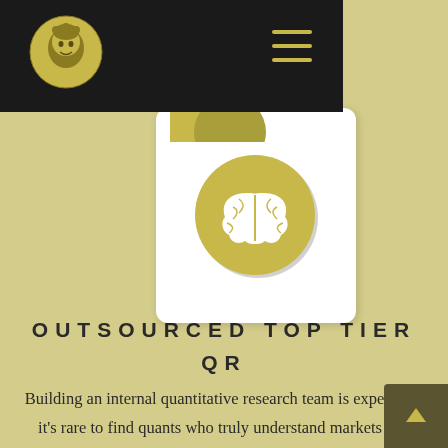[Figure (logo): Ornate gold medallion logo with face design on black header bar]
[Figure (illustration): Gold circle with white brain icon on a white card, with partial gold circles visible above]
OUTSOURCED TOP TIER QR
Building an internal quantitative research team is expensive, it’s rare to find quants who truly understand markets and trading, and there is no guarantee that even the most competent quants will find signals and deliver ROI. Our team has decades of experience at the world’s